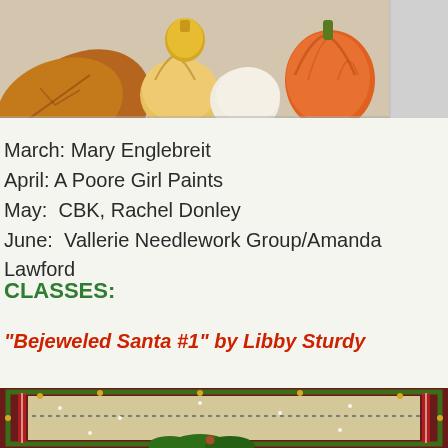[Figure (photo): Top portion of a needlepoint or painted canvas showing autumn/harvest motifs with orange, gold, and brown colors — pumpkins, leaves, and gourd shapes — partially cropped at top.]
March: Mary Englebreit
April: A Poore Girl Paints
May:  CBK, Rachel Donley
June:  Vallerie Needlework Group/Amanda Lawford
CLASSES:
"Bejeweled Santa #1" by Libby Sturdy
[Figure (photo): Bottom portion showing a needlepoint Christmas canvas with a decorative border in dark red/maroon, green holly and pine branches, candy canes, and a beige/tan mesh background with snow dots — the beginning of a Santa scene.]